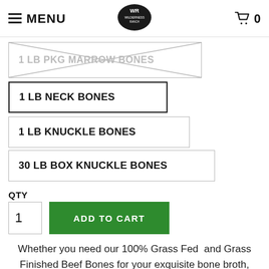MENU | Wilderness Ranch logo | 0
1 LB PKG MARROW BONES (crossed out)
1 LB NECK BONES
1 LB KNUCKLE BONES
30 LB BOX KNUCKLE BONES
QTY
1
ADD TO CART
Whether you need our 100% Grass Fed  and Grass Finished Beef Bones for your exquisite bone broth, would like them for your soup or simply